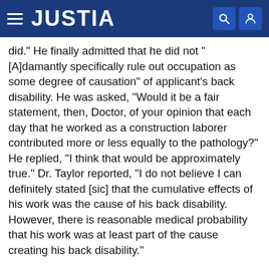JUSTIA
did." He finally admitted that he did not "[A]damantly specifically rule out occupation as some degree of causation" of applicant's back disability. He was asked, "Would it be a fair statement, then, Doctor, of your opinion that each day that he worked as a construction laborer contributed more or less equally to the pathology?" He replied, "I think that would be approximately true." Dr. Taylor reported, "I do not believe I can definitely stated [sic] that the cumulative effects of his work was the cause of his back disability. However, there is reasonable medical probability that his work was at least part of the cause creating his back disability."
While Dr. Palmer, petitioners' witness, opined that applicant's disc condition was not related to his employment, the above opinions of Drs. Taylor and